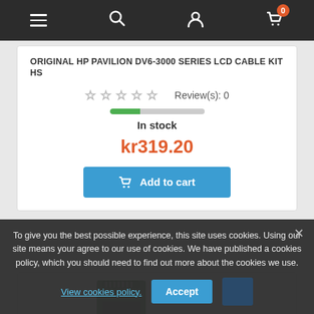[Figure (screenshot): E-commerce website navigation bar with hamburger menu, search icon, user icon, and shopping cart icon with 0 badge]
ORIGINAL HP PAVILION DV6-3000 SERIES LCD CABLE KIT HS
☆☆☆☆☆ Review(s): 0
In stock
kr319.20
Add to cart
[Figure (photo): Green circuit board / PCB component, tall and narrow, with orange label sticker and connectors]
To give you the best possible experience, this site uses cookies. Using our site means your agree to our use of cookies. We have published a cookies policy, which you should need to find out more about the cookies we use.
View cookies policy.
Accept